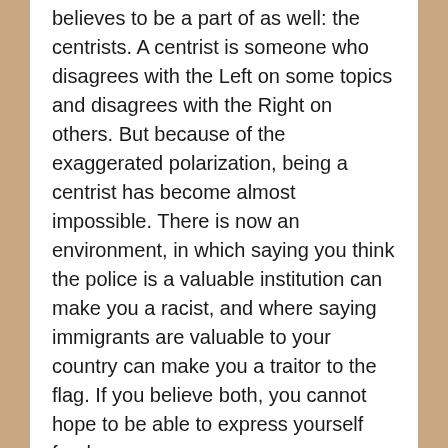believes to be a part of as well: the centrists. A centrist is someone who disagrees with the Left on some topics and disagrees with the Right on others. But because of the exaggerated polarization, being a centrist has become almost impossible. There is now an environment, in which saying you think the police is a valuable institution can make you a racist, and where saying immigrants are valuable to your country can make you a traitor to the flag. If you believe both, you cannot hope to be able to express yourself freely.
This is the main reason for Tom's anger – he wants to change that reality. In trying to do so, though, he has garnered a lot of hate and criticism from both the Left and the Right. As such, a lot (and I mean a lot) of his messages have been intentionally misinterpreted. It pains me to say, but it appears